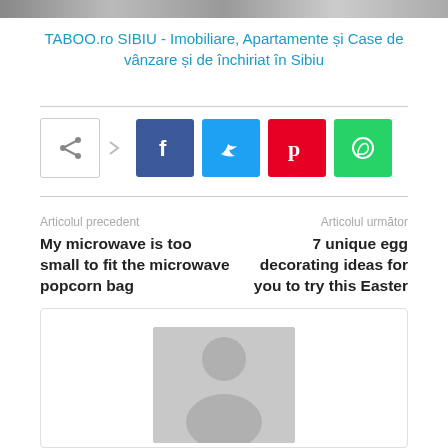[Figure (screenshot): Top image strip banner]
TABOO.ro SIBIU - Imobiliare, Apartamente și Case de vânzare și de închiriat în Sibiu
[Figure (infographic): Social sharing buttons: share icon, Facebook, Twitter, Pinterest, WhatsApp]
Articolul precedent
Articolul următor
My microwave is too small to fit the microwave popcorn bag
7 unique egg decorating ideas for you to try this Easter
[Figure (photo): Author avatar placeholder with grey silhouette]